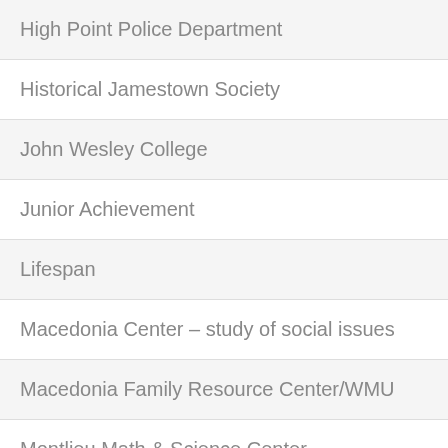| High Point Police Department |
| Historical Jamestown Society |
| John Wesley College |
| Junior Achievement |
| Lifespan |
| Macedonia Center – study of social issues |
| Macedonia Family Resource Center/WMU |
| Montlieu Math & Science Center |
| NC Shakespeare Festival |